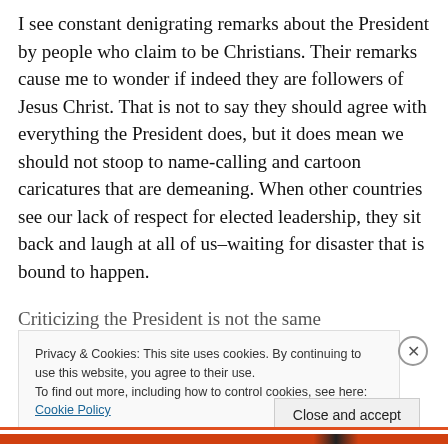I see constant denigrating remarks about the President by people who claim to be Christians. Their remarks cause me to wonder if indeed they are followers of Jesus Christ. That is not to say they should agree with everything the President does, but it does mean we should not stoop to name-calling and cartoon caricatures that are demeaning. When other countries see our lack of respect for elected leadership, they sit back and laugh at all of us–waiting for disaster that is bound to happen.
Criticizing the President is not the same...
Privacy & Cookies: This site uses cookies. By continuing to use this website, you agree to their use.
To find out more, including how to control cookies, see here: Cookie Policy
Close and accept